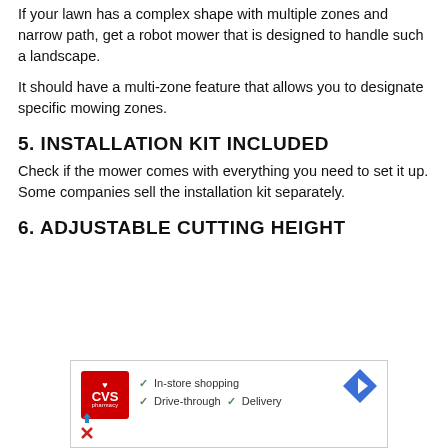If your lawn has a complex shape with multiple zones and narrow path, get a robot mower that is designed to handle such a landscape.
It should have a multi-zone feature that allows you to designate specific mowing zones.
5. INSTALLATION KIT INCLUDED
Check if the mower comes with everything you need to set it up. Some companies sell the installation kit separately.
6. ADJUSTABLE CUTTING HEIGHT
[Figure (screenshot): Advertisement for CVS Pharmacy showing logo, navigation icon, and store info: In-store shopping, Drive-through, Delivery]